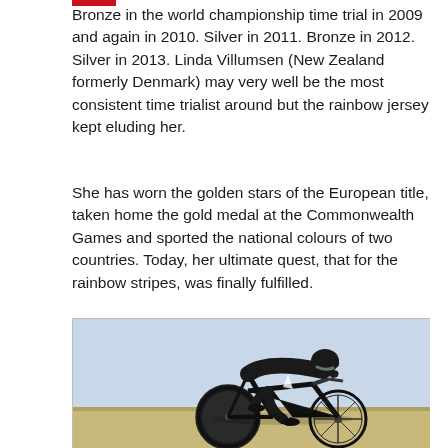Bronze in the world championship time trial in 2009 and again in 2010. Silver in 2011. Bronze in 2012. Silver in 2013. Linda Villumsen (New Zealand formerly Denmark) may very well be the most consistent time trialist around but the rainbow jersey kept eluding her.
She has worn the golden stars of the European title, taken home the gold medal at the Commonwealth Games and sported the national colours of two countries. Today, her ultimate quest, that for the rainbow stripes, was finally fulfilled.
[Figure (photo): A cyclist in a black New Zealand skinsuit and aerodynamic helmet riding a black time trial bicycle in a crouched aerodynamic position on a road.]